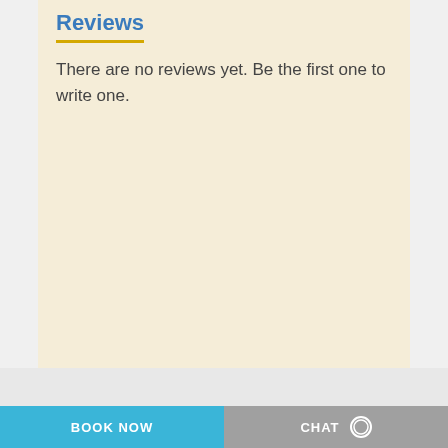Reviews
There are no reviews yet. Be the first one to write one.
BOOK NOW   CHAT